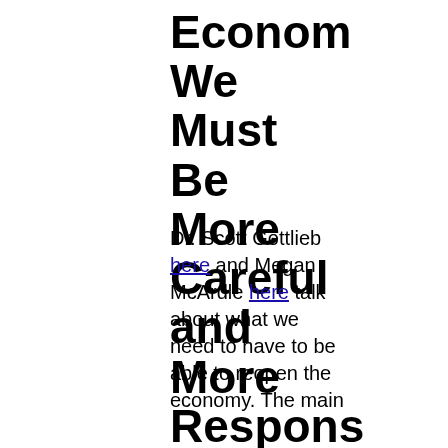Econom We Must Be More Careful and More Respons
Dr. Scott Gottlieb here and Megan McArdle here talk about what we need to have to be able to reopen the economy. The main